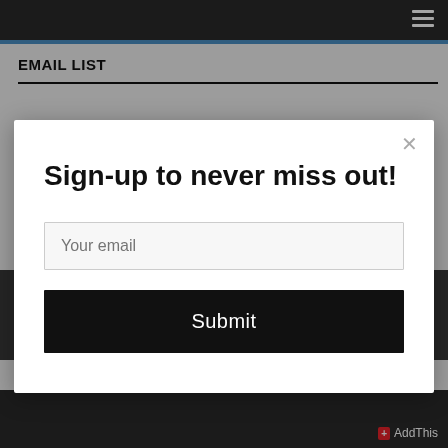EMAIL LIST
[Figure (screenshot): Email sign-up modal popup overlay on a website page. Modal contains headline 'Sign-up to never miss out!', an email input field with placeholder 'Your email', and a black Submit button. Modal has a close X button in the top right corner. Background shows dark navigation bar with hamburger menu, blue accent line, and 'EMAIL LIST' page heading with black divider line. Bottom shows dark footer with AddThis social sharing badge.]
Sign-up to never miss out!
Your email
Submit
AddThis